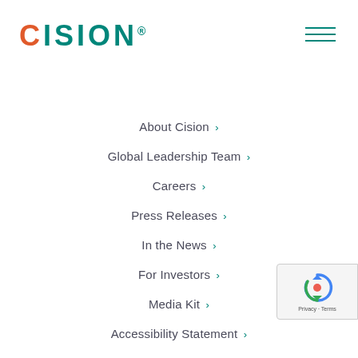[Figure (logo): Cision logo with orange C and teal ISION text]
[Figure (other): Hamburger menu icon with three teal horizontal lines]
About Cision >
Global Leadership Team >
Careers >
Press Releases >
In the News >
For Investors >
Media Kit >
Accessibility Statement >
Resources >
Success Stories >
[Figure (other): reCAPTCHA badge with Privacy and Terms links]